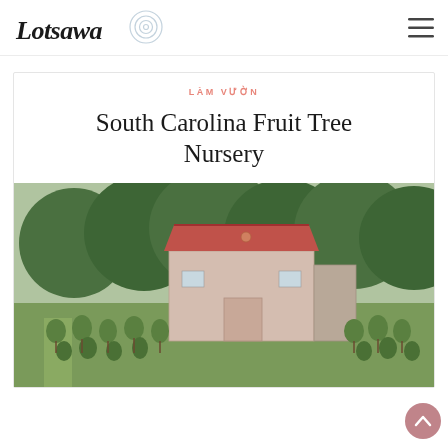[Figure (logo): Lotsawa logo with handwritten-style text and concentric circle swirl graphic]
LÀM VƯỜN
South Carolina Fruit Tree Nursery
[Figure (photo): Outdoor photo of a fruit tree nursery with pink/red metal barn building surrounded by rows of young fruit trees and green forest in background]